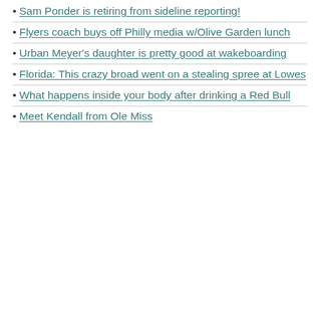Sam Ponder is retiring from sideline reporting!
Flyers coach buys off Philly media w/Olive Garden lunch
Urban Meyer's daughter is pretty good at wakeboarding
Florida: This crazy broad went on a stealing spree at Lowes
What happens inside your body after drinking a Red Bull
Meet Kendall from Ole Miss